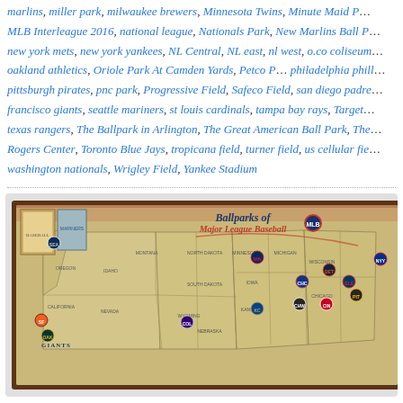marlins, miller park, milwaukee brewers, Minnesota Twins, Minute Maid Park, MLB Interleague 2016, national league, Nationals Park, New Marlins Ball Park, new york mets, new york yankees, NL Central, NL east, nl west, o.co coliseum, oakland athletics, Oriole Park At Camden Yards, Petco Park, philadelphia phillies, pittsburgh pirates, pnc park, Progressive Field, Safeco Field, san diego padres, san francisco giants, seattle mariners, st louis cardinals, tampa bay rays, Target Field, texas rangers, The Ballpark in Arlington, The Great American Ball Park, The Rogers Center, Toronto Blue Jays, tropicana field, turner field, us cellular field, washington nationals, Wrigley Field, Yankee Stadium
[Figure (map): Ballparks of Major League Baseball - illustrated map of the United States showing MLB team logos and ballpark locations across the country, with decorative vintage styling, brown frame border, and team icons/logos placed at their respective geographic locations.]